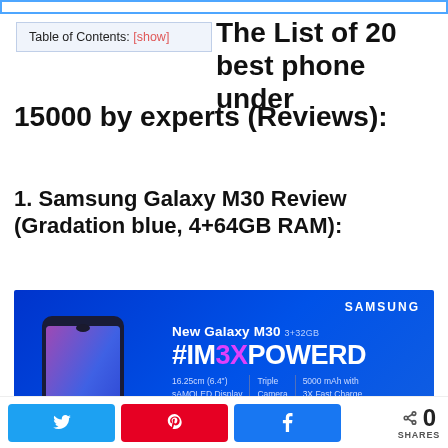Table of Contents: [show]
The List of 20 best phone under 15000 by experts (Reviews):
1. Samsung Galaxy M30 Review (Gradation blue, 4+64GB RAM):
[Figure (photo): Samsung Galaxy M30 advertisement banner showing the phone with text: New Galaxy M30 | 3+32GB, #IM3XPOWERD, 16.25cm (6.4") sAMOLED Display | Triple Camera | 5000 mAh with 3X Fast Charge]
Twitter share button, Pinterest share button, Facebook share button, 0 SHARES